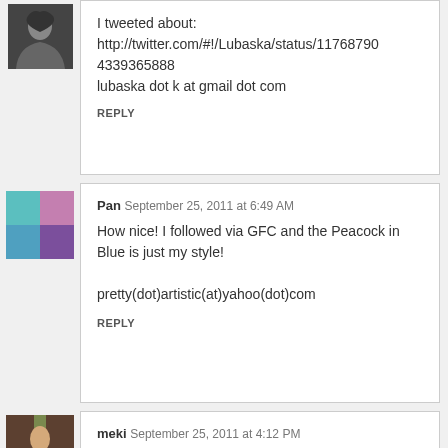I tweeted about: http://twitter.com/#!/Lubaska/status/117687904339365888 lubaska dot k at gmail dot com
REPLY
[Figure (photo): User avatar of Pan, a 2x2 grid of stylized portraits in teal, pink, blue, and purple]
Pan  September 25, 2011 at 6:49 AM
How nice! I followed via GFC and the Peacock in Blue is just my style!

pretty(dot)artistic(at)yahoo(dot)com
REPLY
[Figure (photo): User avatar of meki, a person standing in a doorway]
meki  September 25, 2011 at 4:12 PM
I love this!! :)
http://www.etsy.com/listing/80775284/vintage-